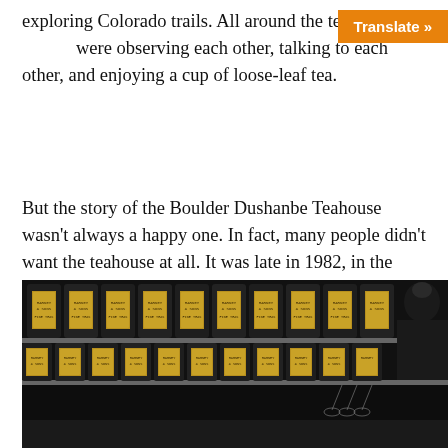exploring Colorado trails. All around the te… were observing each other, talking to each other, and enjoying a cup of loose-leaf tea.
But the story of the Boulder Dushanbe Teahouse wasn't always a happy one. In fact, many people didn't want the teahouse at all. It was late in 1982, in the middle of the Cold War, when a couple of activists met and wanted to establish a Sister City relationship with a city in the Soviet Union to foster understanding and possibly even help ease the tensions between the United States and the Soviet Union.
[Figure (photo): Photo of rows of black tea canisters with gold labels on shelves, with a person visible from behind on the right side and colorful flowers in the lower left corner.]